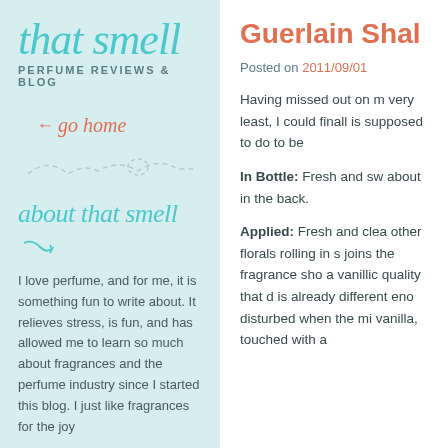that smell
PERFUME REVIEWS & BLOG
← go home
[Figure (illustration): Dashed decorative swirl/loop divider line]
about that smell
I love perfume, and for me, it is something fun to write about. It relieves stress, is fun, and has allowed me to learn so much about fragrances and the perfume industry since I started this blog. I just like fragrances for the joy
Guerlain Shal
Posted on 2011/09/01
Having missed out on m very least, I could finall is supposed to do to be
In Bottle: Fresh and sw about in the back.
Applied: Fresh and clea other florals rolling in s joins the fragrance sho a vanillic quality that d is already different eno disturbed when the mi vanilla, touched with a